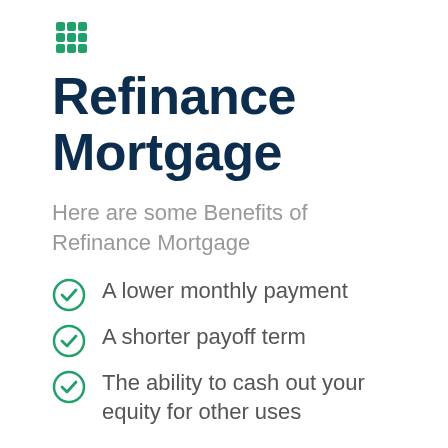[Figure (logo): Green grid/calculator icon]
Refinance Mortgage
Here are some Benefits of Refinance Mortgage
A lower monthly payment
A shorter payoff term
The ability to cash out your equity for other uses
Learn more